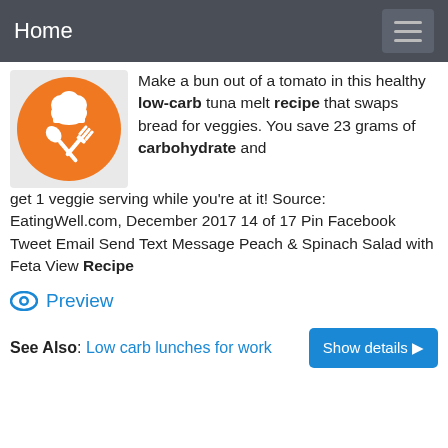Home
[Figure (logo): Orange circular logo with white chef hat and crossed spoon and fork utensils]
Make a bun out of a tomato in this healthy low-carb tuna melt recipe that swaps bread for veggies. You save 23 grams of carbohydrate and get 1 veggie serving while you're at it! Source: EatingWell.com, December 2017 14 of 17 Pin Facebook Tweet Email Send Text Message Peach & Spinach Salad with Feta View Recipe
Preview
See Also: Low carb lunches for work